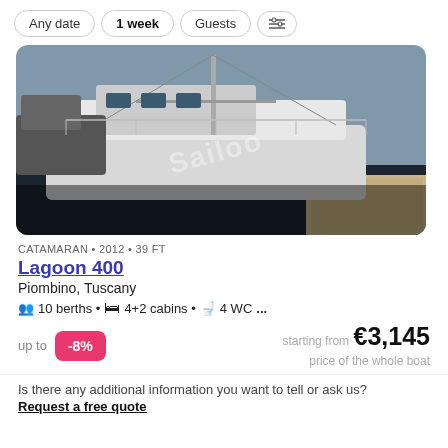Any date  1 week  Guests  [filter icon]
[Figure (photo): Catamaran boat docked at a marina, white hull, watermark 'Sailoo' visible in center]
CATAMARAN • 2012 • 39 FT
Lagoon 400
Piombino, Tuscany
10 berths • 4+2 cabins • 4 WC ...
up to -8% starting from €3,145 price of the whole boat
Is there any additional information you want to tell or ask us?
Request a free quote